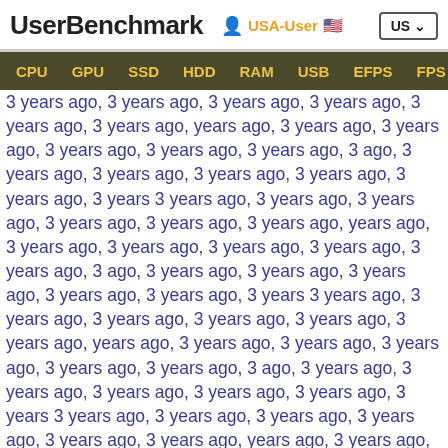UserBenchmark | USA-User | US
CPU | GPU | SSD | HDD | RAM | USB | EFPS | FPS | Sk
3 years ago, 3 years ago, 3 years ago, 3 years ago, 3 years ago, 3 years ago, ... (repeated), 3 years ago, 3 years ago, 3 years ago, 3 years ago, 3 years ago (bold), 3 years ago, ...